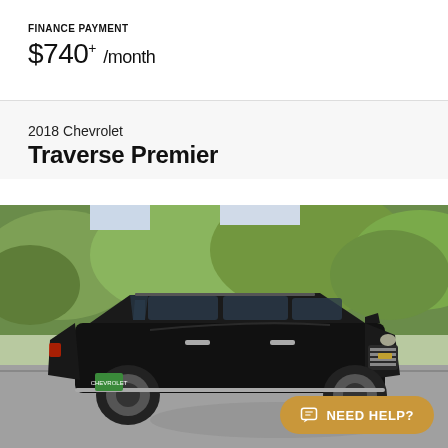FINANCE PAYMENT
$740+ /month
2018 Chevrolet
Traverse Premier
[Figure (photo): 2018 Chevrolet Traverse Premier in black, parked on a road with green trees in background]
NEED HELP?